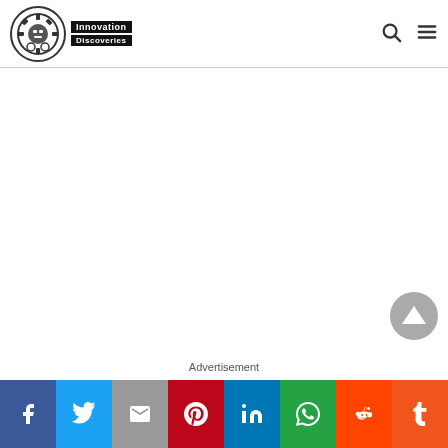Innovation Discoveries
Advertisement
Social share bar: Facebook, Twitter, Gmail, Pinterest, LinkedIn, WhatsApp, Reddit, Tumblr